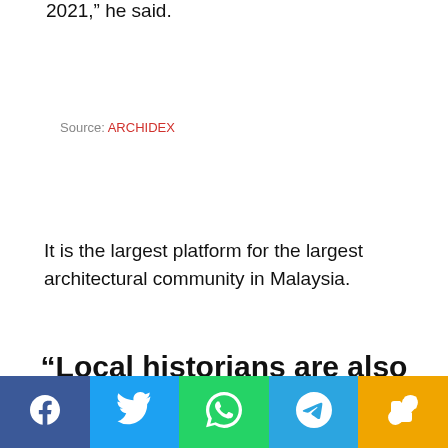2021,” he said.
Source: ARCHIDEX
It is the largest platform for the largest architectural community in Malaysia.
“Local historians are also becoming more acquainted with me
[Figure (infographic): Social media share buttons bar: Facebook (blue), Twitter (light blue), WhatsApp (green), Telegram (blue), Copy/Link (yellow)]